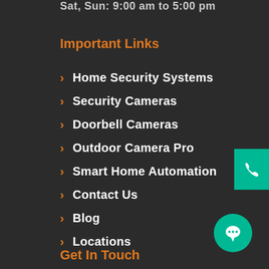Sat, Sun:  9:00 am to 5:00 pm
Important Links
Home Security Systems
Security Cameras
Doorbell Cameras
Outdoor Camera Pro
Smart Home Automation
Contact Us
Blog
Locations
Get In Touch